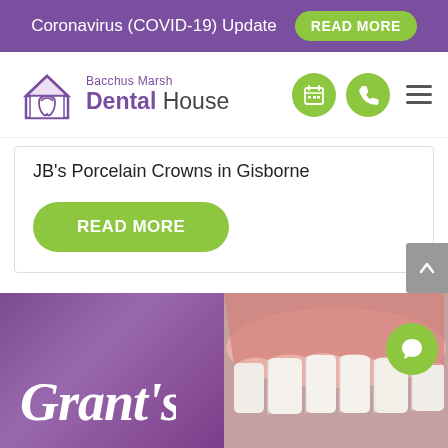Coronavirus (COVID-19) Update  READ MORE
[Figure (logo): Bacchus Marsh Dental House logo with house/tooth icon, purple and grey text, green circle icons for booking and phone, hamburger menu]
JB's Porcelain Crowns in Gisborne
READ MORE
[Figure (photo): Bottom section showing two panels: left panel is purple/mauve background with cursive white text reading 'Grant's'; right panel shows a close-up photo of human teeth and gums]